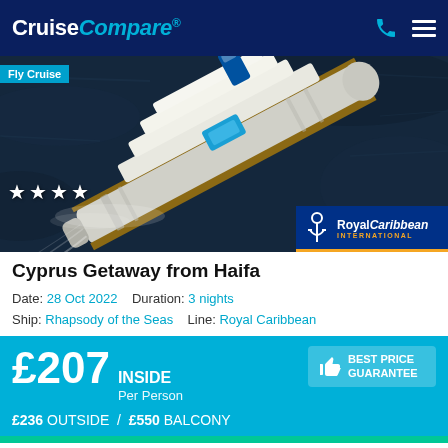CruiseCompare® — navigation header
[Figure (photo): Aerial view of a Royal Caribbean cruise ship (Rhapsody of the Seas) from above, surrounded by dark ocean water. A 'Fly Cruise' badge is at the top-left. Four white stars overlay the bottom-left of the image. Royal Caribbean International logo badge at bottom-right.]
Cyprus Getaway from Haifa
Date: 28 Oct 2022   Duration: 3 nights
Ship: Rhapsody of the Seas   Line: Royal Caribbean
£207 INSIDE Per Person — BEST PRICE GUARANTEE
£236 OUTSIDE / £550 BALCONY